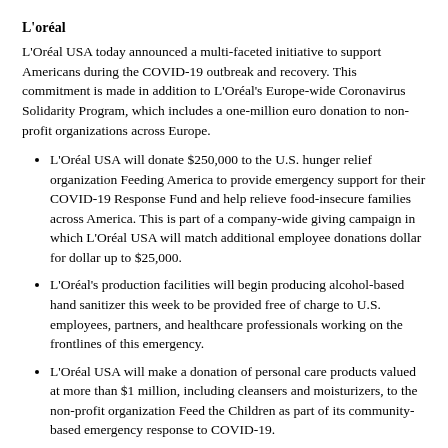L'oréal
L'Oréal USA today announced a multi-faceted initiative to support Americans during the COVID-19 outbreak and recovery. This commitment is made in addition to L'Oréal's Europe-wide Coronavirus Solidarity Program, which includes a one-million euro donation to non-profit organizations across Europe.
L'Oréal USA will donate $250,000 to the U.S. hunger relief organization Feeding America to provide emergency support for their COVID-19 Response Fund and help relieve food-insecure families across America. This is part of a company-wide giving campaign in which L'Oréal USA will match additional employee donations dollar for dollar up to $25,000.
L'Oréal's production facilities will begin producing alcohol-based hand sanitizer this week to be provided free of charge to U.S. employees, partners, and healthcare professionals working on the frontlines of this emergency.
L'Oréal USA will make a donation of personal care products valued at more than $1 million, including cleansers and moisturizers, to the non-profit organization Feed the Children as part of its community-based emergency response to COVID-19.